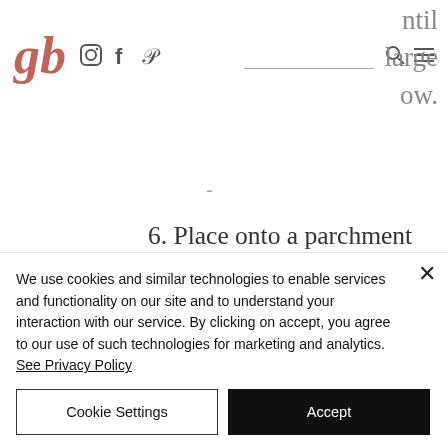gb logo with social icons (Instagram, Facebook, Pinterest), search bar, navigation icons
ntil large ow.
6. Place onto a parchment lined baking sheet about 2-3" apart. These cookies will spread and they get big! Add additional chocolate chips on top and
We use cookies and similar technologies to enable services and functionality on our site and to understand your interaction with our service. By clicking on accept, you agree to our use of such technologies for marketing and analytics. See Privacy Policy
Cookie Settings
Accept